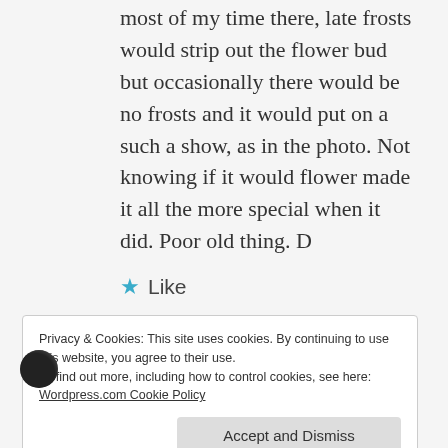most of my time there, late frosts would strip out the flower bud but occasionally there would be no frosts and it would put on a such a show, as in the photo. Not knowing if it would flower made it all the more special when it did. Poor old thing. D
★ Like
REPLY
Privacy & Cookies: This site uses cookies. By continuing to use this website, you agree to their use.
To find out more, including how to control cookies, see here:
Wordpress.com Cookie Policy
Accept and Dismiss
Just wanted to add another commiseration to